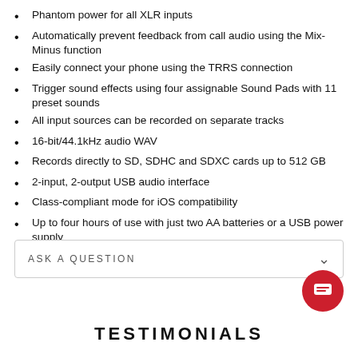Phantom power for all XLR inputs
Automatically prevent feedback from call audio using the Mix-Minus function
Easily connect your phone using the TRRS connection
Trigger sound effects using four assignable Sound Pads with 11 preset sounds
All input sources can be recorded on separate tracks
16-bit/44.1kHz audio WAV
Records directly to SD, SDHC and SDXC cards up to 512 GB
2-input, 2-output USB audio interface
Class-compliant mode for iOS compatibility
Up to four hours of use with just two AA batteries or a USB power supply
ASK A QUESTION
TESTIMONIALS